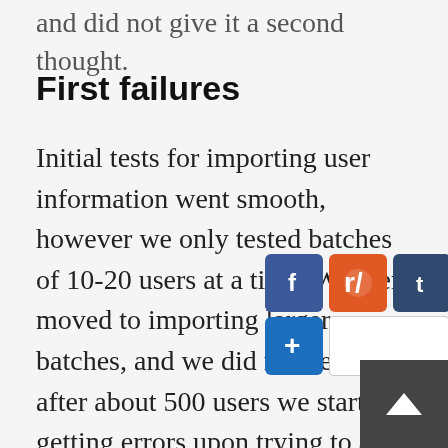and did not give it a second thought.
First failures
Initial tests for importing user information went smooth, however we only tested batches of 10-20 users at a time. We then moved to importing larger batches, and we did notice that after about 500 users we started getting errors upon trying to add more. Well, restarting ApacheDS seemed to be the solution, so we did th... however, after a couple re... 1000 users imported it... ter restart.
[Figure (other): Social sharing buttons overlay: Facebook (blue), Reddit (orange), Tumblr (dark blue), Twitter (light blue), Email (light blue), Plus/Add button (blue), and an empty share input box. Also a dark grey scroll-to-top button with upward arrow in bottom-right corner.]